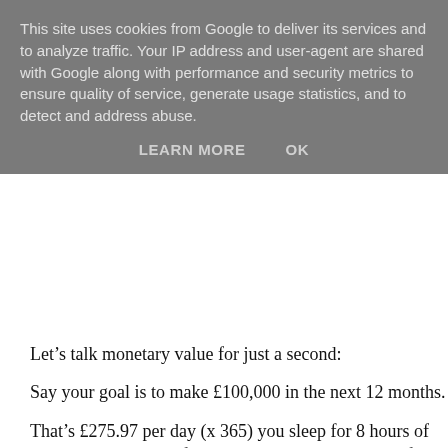This site uses cookies from Google to deliver its services and to analyze traffic. Your IP address and user-agent are shared with Google along with performance and security metrics to ensure quality of service, generate usage statistics, and to detect and address abuse.
LEARN MORE    OK
Let's talk monetary value for just a second:
Say your goal is to make £100,000 in the next 12 months.
That's £275.97 per day (x 365) you sleep for 8 hours of that day - the value of your time is £17.12 per hour if you are going to r…
Every hour you waste being worried about something you can't…
Every hour you waste laying in your bed staring at your phone … to reply
Every hour you waste being conflicted by the opinions of others…
Every hour you waste arguing with people over irrelevant bullsh…
Every hour you waste procrastinating instead of acting on your…
Is wasted time you won't get back and wasted money you won't…